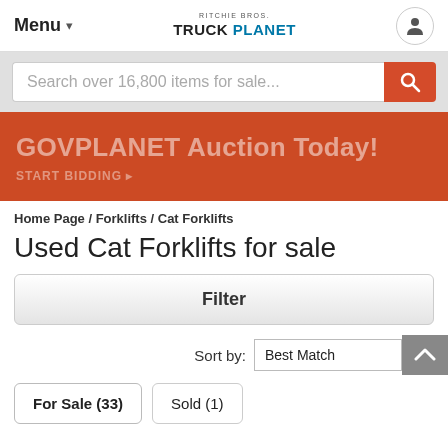Menu | RITCHIE BROS. TRUCK PLANET
Search over 16,800 items for sale...
[Figure (infographic): GOVPLANET Auction Today! START BIDDING banner in orange/red]
Home Page / Forklifts / Cat Forklifts
Used Cat Forklifts for sale
Filter
Sort by: Best Match
For Sale (33)  Sold (1)